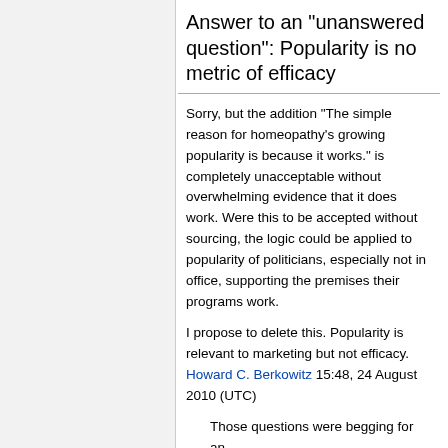Answer to an "unanswered question": Popularity is no metric of efficacy
Sorry, but the addition "The simple reason for homeopathy's growing popularity is because it works." is completely unacceptable without overwhelming evidence that it does work. Were this to be accepted without sourcing, the logic could be applied to popularity of politicians, especially not in office, supporting the premises their programs work.
I propose to delete this. Popularity is relevant to marketing but not efficacy. Howard C. Berkowitz 15:48, 24 August 2010 (UTC)
Those questions were begging for an